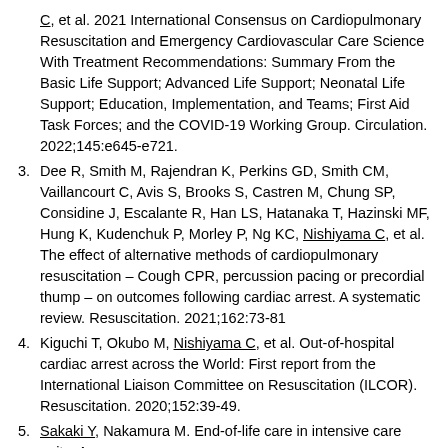C, et al. 2021 International Consensus on Cardiopulmonary Resuscitation and Emergency Cardiovascular Care Science With Treatment Recommendations: Summary From the Basic Life Support; Advanced Life Support; Neonatal Life Support; Education, Implementation, and Teams; First Aid Task Forces; and the COVID-19 Working Group. Circulation. 2022;145:e645-e721.
3. Dee R, Smith M, Rajendran K, Perkins GD, Smith CM, Vaillancourt C, Avis S, Brooks S, Castren M, Chung SP, Considine J, Escalante R, Han LS, Hatanaka T, Hazinski MF, Hung K, Kudenchuk P, Morley P, Ng KC, Nishiyama C, et al. The effect of alternative methods of cardiopulmonary resuscitation – Cough CPR, percussion pacing or precordial thump – on outcomes following cardiac arrest. A systematic review. Resuscitation. 2021;162:73-81
4. Kiguchi T, Okubo M, Nishiyama C, et al. Out-of-hospital cardiac arrest across the World: First report from the International Liaison Committee on Resuscitation (ILCOR). Resuscitation. 2020;152:39-49.
5. Sakaki Y, Nakamura M. End-of-life care in intensive care units: A